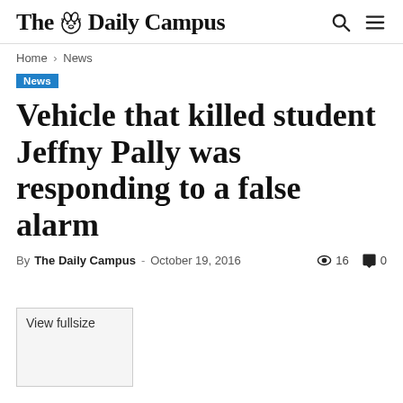The Daily Campus
Home › News
News
Vehicle that killed student Jeffny Pally was responding to a false alarm
By The Daily Campus - October 19, 2016  16  0
[Figure (other): View fullsize image placeholder box]